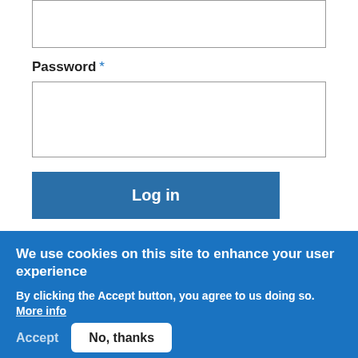[Figure (screenshot): An empty text input box (top of page, partially visible)]
Password *
[Figure (screenshot): An empty password input box]
[Figure (screenshot): A blue 'Log in' button]
Create new account
Reset your password
We use cookies on this site to enhance your user experience
By clicking the Accept button, you agree to us doing so. More info
Accept
No, thanks